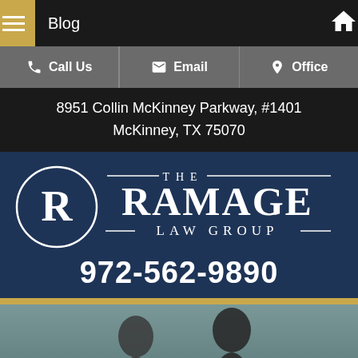Blog
Call Us | Email | Office
8951 Collin McKinney Parkway, #1401
McKinney, TX 75070
[Figure (logo): The Ramage Law Group logo with circular R emblem and decorative lines]
972-562-9890
[Figure (photo): Two people (couple) photographed from behind against a muted blue-grey background]